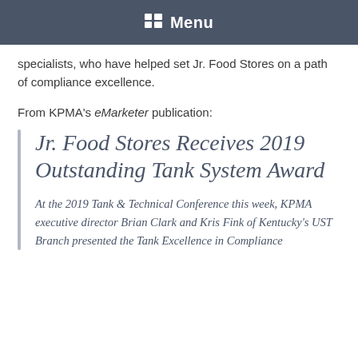Menu
specialists, who have helped set Jr. Food Stores on a path of compliance excellence.
From KPMA's eMarketer publication:
Jr. Food Stores Receives 2019 Outstanding Tank System Award
At the 2019 Tank & Technical Conference this week, KPMA executive director Brian Clark and Kris Fink of Kentucky's UST Branch presented the Tank Excellence in Compliance